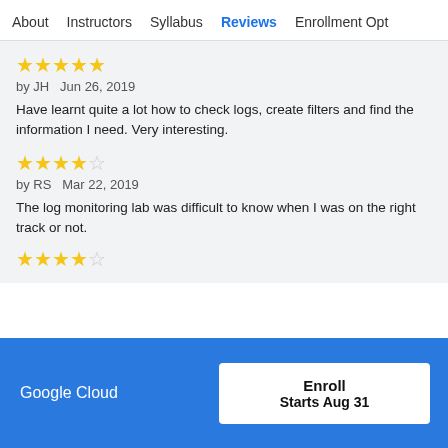About   Instructors   Syllabus   Reviews   Enrollment Opt
★★★★★
by JH  Jun 26, 2019

Have learnt quite a lot how to check logs, create filters and find the information I need. Very interesting.
★★★★☆
by RS  Mar 22, 2019

The log monitoring lab was difficult to know when I was on the right track or not.
★★★★☆
Google Cloud
Enroll
Starts Aug 31